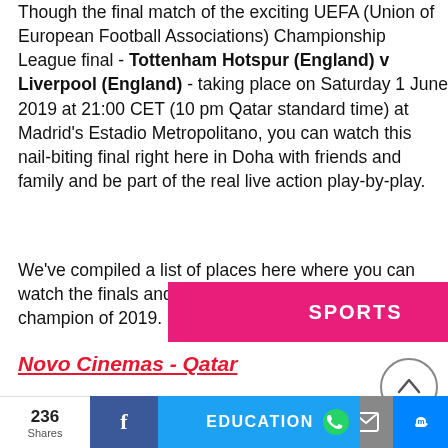Though the final match of the exciting UEFA (Union of European Football Associations) Championship League final - Tottenham Hotspur (England) v Liverpool (England) - taking place on Saturday 1 June 2019 at 21:00 CET (10 pm Qatar standard time) at Madrid's Estadio Metropolitano, you can watch this nail-biting final right here in Doha with friends and family and be part of the real live action play-by-play.
We've compiled a list of places here where you can watch the finals and find out who will be the UEFA champion of 2019.
[Figure (other): Pink/magenta banner overlay with bold white text 'SPORTS']
Novo Cinemas - Qatar
Live every moment of the Champions League Finals live
[Figure (other): Social sharing bottom bar with share count 236 Shares, Facebook, Twitter, WhatsApp, Email, Messenger buttons. EDUCATION label overlay.]